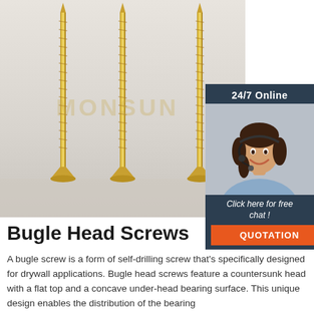[Figure (photo): Three gold/brass bugle head screws standing upright on a light surface with a watermark reading MONSUN]
[Figure (infographic): 24/7 Online chat widget with a woman wearing a headset, a 'Click here for free chat!' message, and an orange QUOTATION button]
Bugle Head Screws
A bugle screw is a form of self-drilling screw that's specifically designed for drywall applications. Bugle head screws feature a countersunk head with a flat top and a concave under-head bearing surface. This unique design enables the distribution of the bearing